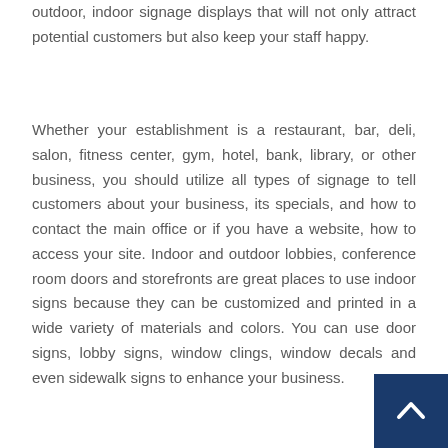outdoor, indoor signage displays that will not only attract potential customers but also keep your staff happy.
Whether your establishment is a restaurant, bar, deli, salon, fitness center, gym, hotel, bank, library, or other business, you should utilize all types of signage to tell customers about your business, its specials, and how to contact the main office or if you have a website, how to access your site. Indoor and outdoor lobbies, conference room doors and storefronts are great places to use indoor signs because they can be customized and printed in a wide variety of materials and colors. You can use door signs, lobby signs, window clings, window decals and even sidewalk signs to enhance your business.
[Figure (other): Back to top navigation button — dark navy blue square with a white upward-pointing chevron/caret arrow icon]